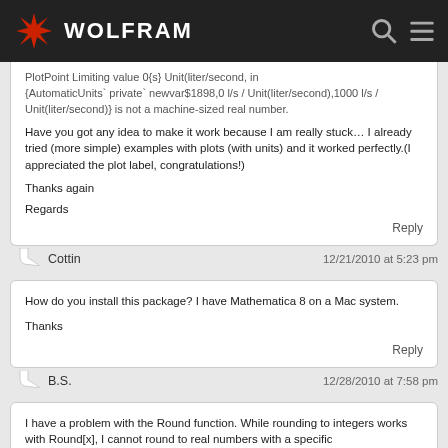WOLFRAM
PlotPoint Limiting value 0{s} Unit(liter/second, in {AutomaticUnits` private` newvar$1898,0 l/s / Unit(liter/second),1000 l/s / Unit(liter/second)} is not a machine-sized real number.

Have you got any idea to make it work because I am really stuck… I already tried (more simple) examples with plots (with units) and it worked perfectly.(I appreciated the plot label, congratulations!)

Thanks again
Regards
Reply
Cottin  12/21/2010 at 5:23 pm
How do you install this package? I have Mathematica 8 on a Mac system.

Thanks
Reply
B.S.  12/28/2010 at 7:58 pm
I have a problem with the Round function. While rounding to integers works with Round[x], I cannot round to real numbers with a specific